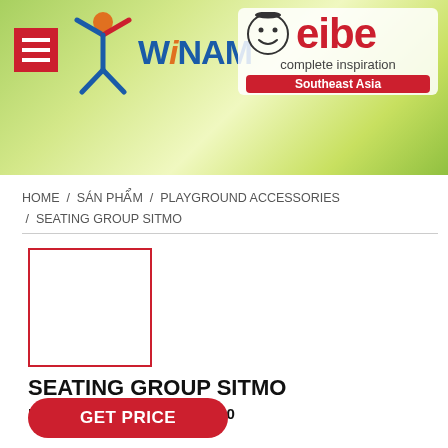[Figure (logo): Winam company logo with stylized figure and blue/orange text]
[Figure (logo): eibe complete inspiration Southeast Asia logo with cartoon face and red text]
HOME / SÁN PHẨM / PLAYGROUND ACCESSORIES / SEATING GROUP SITMO
[Figure (photo): Product image placeholder — empty white box with red border]
SEATING GROUP SITMO
ITEM NUMBER: 54508706300
GET PRICE